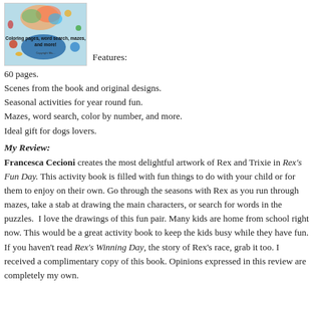[Figure (illustration): Book cover illustration showing colorful splash designs with text 'Coloring pages, word search, mazes, and more!' on a light blue background with paint splatters]
Features:
60 pages.
Scenes from the book and original designs.
Seasonal activities for year round fun.
Mazes, word search, color by number, and more.
Ideal gift for dogs lovers.
My Review:
Francesca Cecioni creates the most delightful artwork of Rex and Trixie in Rex's Fun Day. This activity book is filled with fun things to do with your child or for them to enjoy on their own. Go through the seasons with Rex as you run through mazes, take a stab at drawing the main characters, or search for words in the puzzles.  I love the drawings of this fun pair. Many kids are home from school right now. This would be a great activity book to keep the kids busy while they have fun. If you haven't read Rex's Winning Day, the story of Rex's race, grab it too. I received a complimentary copy of this book. Opinions expressed in this review are completely my own.